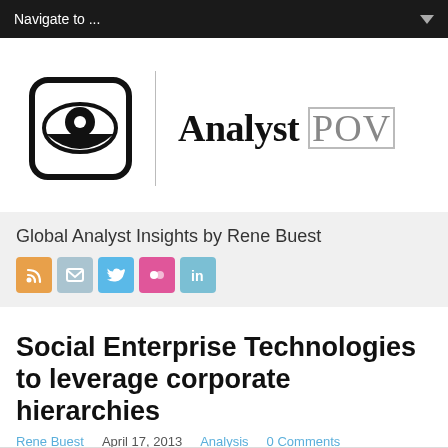Navigate to ...
[Figure (logo): Analyst POV logo: eye icon in a rounded square followed by a vertical divider and the text 'Analyst POV' in serif font]
Global Analyst Insights by Rene Buest
[Figure (infographic): Row of five social media icon buttons: RSS (orange), Email (blue-grey), Twitter (blue), Flickr (pink), LinkedIn (light blue)]
Social Enterprise Technologies to leverage corporate hierarchies
Rene Buest   April 17, 2013   Analysis   0 Comments